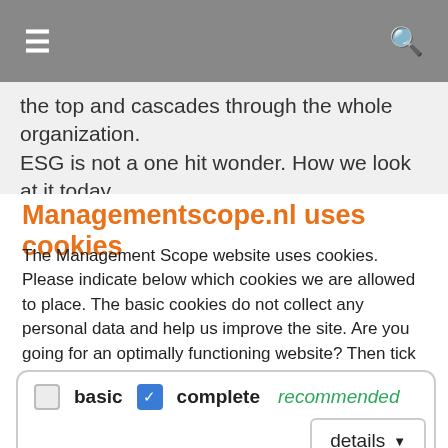≡  🔍
the top and cascades through the whole organization. ESG is not a one hit wonder. How we look at it today
Managementscope.nl uses cookies
The Management Scope website uses cookies. Please indicate below which cookies we are allowed to place. The basic cookies do not collect any personal data and help us improve the site. Are you going for an optimally functioning website? Then tick 'complete', this offers you the best experience of our site.
basic  ☑ complete  recommended
details ▼
Accept